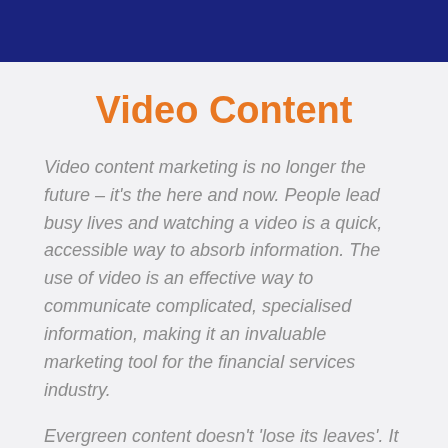Video Content
Video content marketing is no longer the future – it's the here and now. People lead busy lives and watching a video is a quick, accessible way to absorb information. The use of video is an effective way to communicate complicated, specialised information, making it an invaluable marketing tool for the financial services industry.
Evergreen content doesn't 'lose its leaves'. It